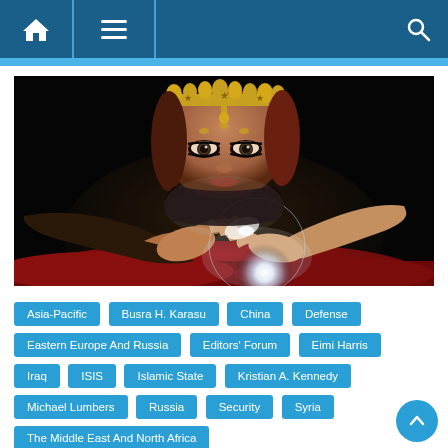Navigation bar with home, menu, and search icons
[Figure (photo): Fortune teller woman with ornate golden headdress leaning over a glowing crystal ball in darkness, hands spread around the glowing orb, dramatic lighting]
Asia-Pacific
Busra H. Karasu
China
Defense
Eastern Europe And Russia
Editors' Forum
Eimi Harris
Iraq
ISIS
Islamic State
Kristian A. Kennedy
Michael Lumbers
Russia
Security
Syria
The Middle East And North Africa
The United States Of America
Women